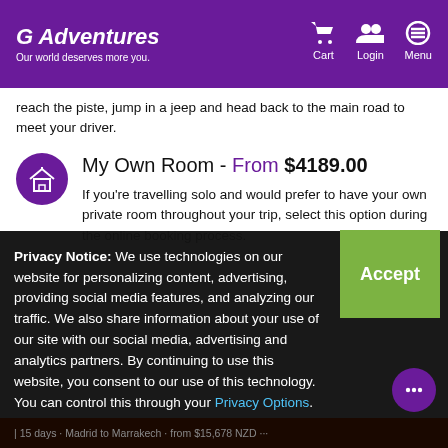G Adventures — Our world deserves more you. | Cart | Login | Menu
reach the piste, jump in a jeep and head back to the main road to meet your driver.
My Own Room - From $4189.00
If you're travelling solo and would prefer to have your own private room throughout your trip, select this option during the online booking process.
Privacy Notice: We use technologies on our website for personalizing content, advertising, providing social media features, and analyzing our traffic. We also share information about your use of our site with our social media, advertising and analytics partners. By continuing to use this website, you consent to our use of this technology. You can control this through your Privacy Options.